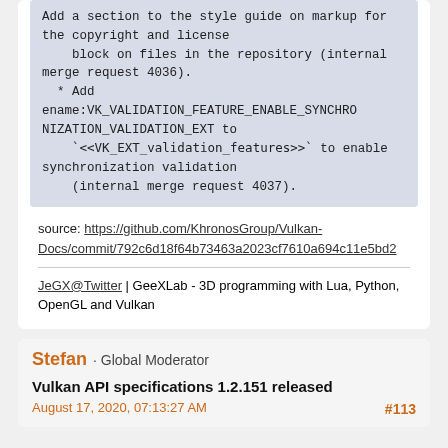Add a section to the style guide on markup for the copyright and license block on files in the repository (internal merge request 4036).
 * Add ename:VK_VALIDATION_FEATURE_ENABLE_SYNCHRONIZATION_VALIDATION_EXT to `<<VK_EXT_validation_features>>` to enable synchronization validation (internal merge request 4037).
source: https://github.com/KhronosGroup/Vulkan-Docs/commit/792c6d18f64b73463a2023cf7610a694c11e5bd2
JeGX@Twitter | GeeXLab - 3D programming with Lua, Python, OpenGL and Vulkan
Stefan · Global Moderator
Vulkan API specifications 1.2.151 released
August 17, 2020, 07:13:27 AM
#113